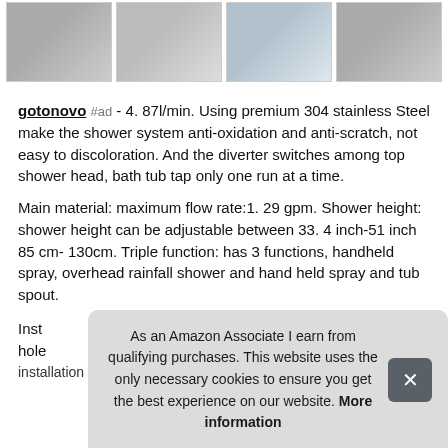[Figure (photo): Row of four product thumbnail images showing shower system components]
gotonovo #ad - 4. 87l/min. Using premium 304 stainless Steel make the shower system anti-oxidation and anti-scratch, not easy to discoloration. And the diverter switches among top shower head, bath tub tap only one run at a time.
Main material: maximum flow rate:1. 29 gpm. Shower height: shower height can be adjustable between 33. 4 inch-51 inch 85 cm- 130cm. Triple function: has 3 functions, handheld spray, overhead rainfall shower and hand held spray and tub spout.
Inst hole installation
As an Amazon Associate I earn from qualifying purchases. This website uses the only necessary cookies to ensure you get the best experience on our website. More information